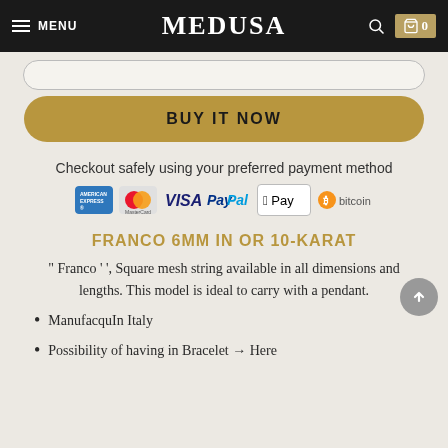MENU  MEDUSA  0
BUY IT NOW
Checkout safely using your preferred payment method
[Figure (infographic): Payment method icons: American Express, MasterCard, VISA, PayPal, Apple Pay, Bitcoin]
FRANCO 6MM IN OR 10-KARAT
" Franco ' ', Square mesh string available in all dimensions and lengths. This model is ideal to carry with a pendant.
ManufacquIn Italy
Possibility of having in Bracelet → Here